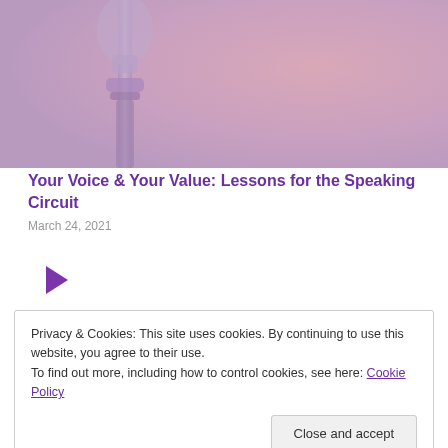[Figure (photo): Close-up of a microphone against a soft pink/purple blurred background]
Your Voice & Your Value: Lessons for the Speaking Circuit
March 24, 2021
[Figure (other): Purple play button triangle icon]
Privacy & Cookies: This site uses cookies. By continuing to use this website, you agree to their use.
To find out more, including how to control cookies, see here: Cookie Policy
Close and accept